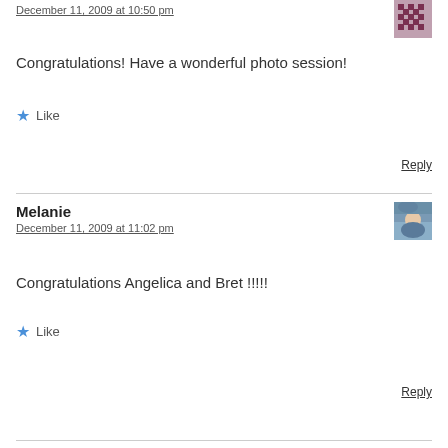December 11, 2009 at 10:50 pm
Congratulations! Have a wonderful photo session!
Like
Reply
Melanie
December 11, 2009 at 11:02 pm
Congratulations Angelica and Bret !!!!!
Like
Reply